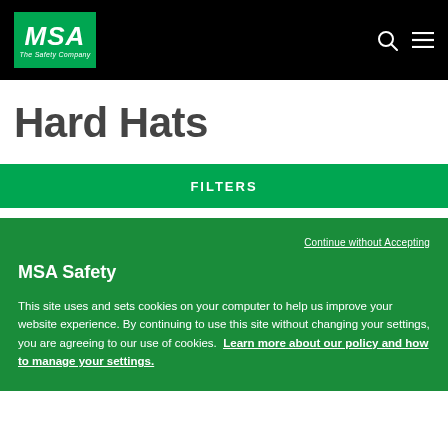[Figure (logo): MSA The Safety Company logo - white text on green background with italic styling, set in black navigation bar]
Hard Hats
FILTERS
Continue without Accepting
MSA Safety
This site uses and sets cookies on your computer to help us improve your website experience. By continuing to use this site without changing your settings, you are agreeing to our use of cookies.  Learn more about our policy and how to manage your settings.